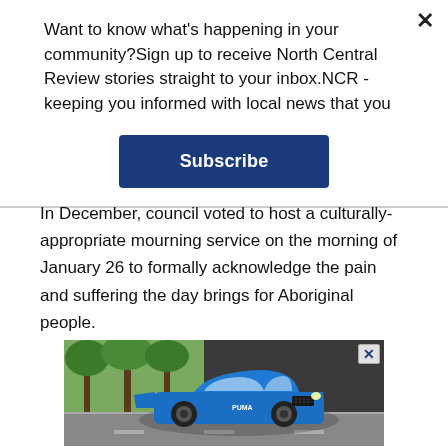Want to know what's happening in your community?Sign up to receive North Central Review stories straight to your inbox.NCR - keeping you informed with local news that you
Subscribe
In December, council voted to host a culturally-appropriate mourning service on the morning of January 26 to formally acknowledge the pain and suffering the day brings for Aboriginal people.
[Figure (photo): Blue Ford Puma SUV driving on a road with trees and a dark building in the background. Advertisement image with close button (X) in top right corner.]